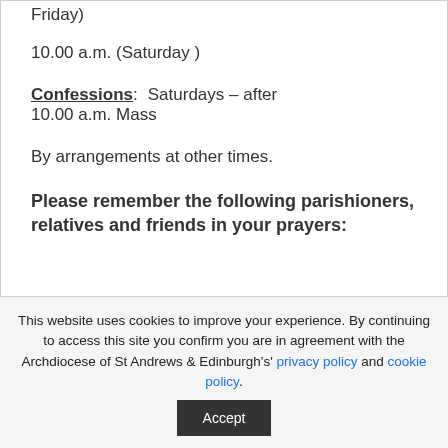Friday)
10.00 a.m. (Saturday )
Confessions: Saturdays – after 10.00 a.m. Mass
By arrangements at other times.
Please remember the following parishioners, relatives and friends in your prayers:
This website uses cookies to improve your experience. By continuing to access this site you confirm you are in agreement with the Archdiocese of St Andrews & Edinburgh's' privacy policy and cookie policy.